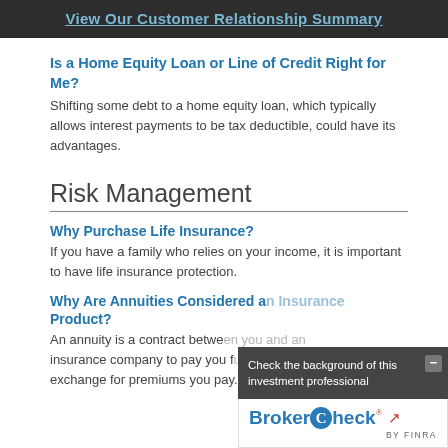View Our Customer Relationship Summary
Is a Home Equity Loan or Line of Credit Right for Me?
Shifting some debt to a home equity loan, which typically allows interest payments to be tax deductible, could have its advantages.
Risk Management
Why Purchase Life Insurance?
If you have a family who relies on your income, it is important to have life insurance protection.
Why Are Annuities Considered an Insurance Product?
An annuity is a contract between you and an insurance company to pay you future income in exchange for premiums you pay.
[Figure (other): BrokerCheck overlay popup: 'Check the background of this investment professional' with BrokerCheck by FINRA logo and a minus/close button.]